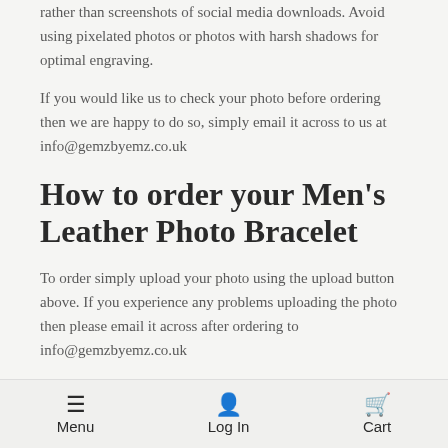rather than screenshots of social media downloads. Avoid using pixelated photos or photos with harsh shadows for optimal engraving.
If you would like us to check your photo before ordering then we are happy to do so, simply email it across to us at info@gemzbyemz.co.uk
How to order your Men's Leather Photo Bracelet
To order simply upload your photo using the upload button above. If you experience any problems uploading the photo then please email it across after ordering to info@gemzbyemz.co.uk
Menu   Log In   Cart